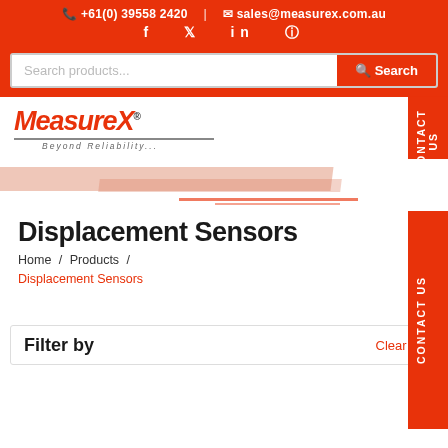+61(0) 39558 2420 | sales@measurex.com.au
f  in
[Figure (screenshot): MeasureX logo with text 'Beyond Reliability...']
Displacement Sensors
Home / Products / Displacement Sensors
Filter by   Clear All